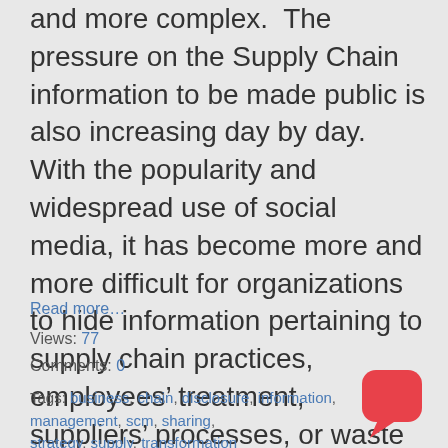and more complex.  The pressure on the Supply Chain information to be made public is also increasing day by day.  With the popularity and widespread use of social media, it has become more and more difficult for organizations to hide information pertaining to supply chain practices, employees' treatment, suppliers' processes, or waste materials generated that could affect the environment.  Social media often publicizes negative reports on companies' supply
Read more…
Views: 77
Comments: 0
Tags: business, chain, disclosure, information, management, scm, sharing, strategy, supply, transformation
[Figure (illustration): Red speech bubble / chat bubble icon in bottom right corner]